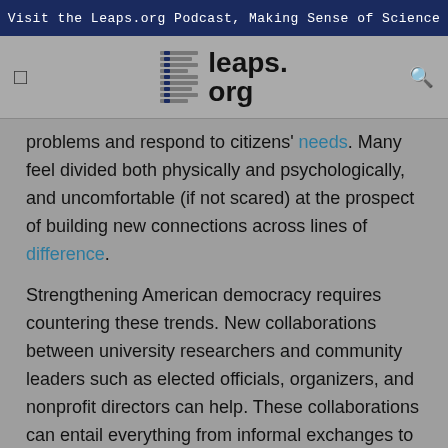Visit the Leaps.org Podcast, Making Sense of Science
[Figure (logo): leaps.org logo with horizontal lines icon and bold text]
problems and respond to citizens' needs. Many feel divided both physically and psychologically, and uncomfortable (if not scared) at the prospect of building new connections across lines of difference.
Strengthening American democracy requires countering these trends. New collaborations between university researchers and community leaders such as elected officials, organizers, and nonprofit directors can help. These collaborations can entail everything from informal exchanges to co-led projects.
But there's a catch. They require that people with diverse forms of knowledge and lived experience, who are often strangers, choose to engage with one